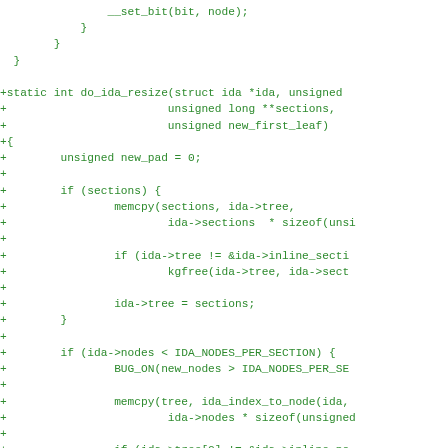[Figure (other): Source code diff showing C code for do_ida_resize function with green plus-sign diff markers]